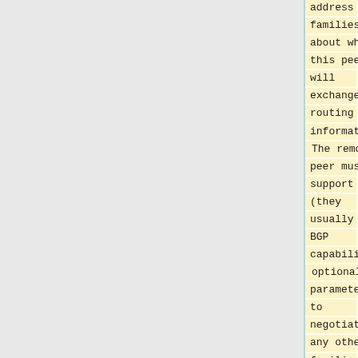address families about which this peer will exchange routing information. The remote peer must support (they usually do) BGP capabilities optional parameter to negotiate any other families than IP</td>